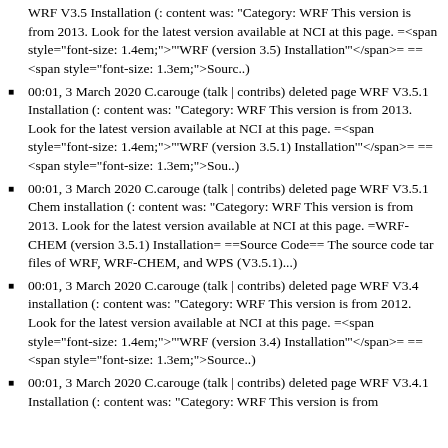WRF V3.5 Installation (: content was: "Category: WRF This version is from 2013. Look for the latest version available at NCI at this page. =<span style="font-size: 1.4em;">"'WRF (version 3.5) Installation'"</span>= ==<span style="font-size: 1.3em;">Sourc..)
00:01, 3 March 2020 C.carouge (talk | contribs) deleted page WRF V3.5.1 Installation (: content was: "Category: WRF This version is from 2013. Look for the latest version available at NCI at this page. =<span style="font-size: 1.4em;">"'WRF (version 3.5.1) Installation'"</span>= ==<span style="font-size: 1.3em;">Sou..)
00:01, 3 March 2020 C.carouge (talk | contribs) deleted page WRF V3.5.1 Chem installation (: content was: "Category: WRF This version is from 2013. Look for the latest version available at NCI at this page. =WRF-CHEM (version 3.5.1) Installation= ==Source Code== The source code tar files of WRF, WRF-CHEM, and WPS (V3.5.1)...)
00:01, 3 March 2020 C.carouge (talk | contribs) deleted page WRF V3.4 installation (: content was: "Category: WRF This version is from 2012. Look for the latest version available at NCI at this page. =<span style="font-size: 1.4em;">"'WRF (version 3.4) Installation'"</span>= ==<span style="font-size: 1.3em;">Source..)
00:01, 3 March 2020 C.carouge (talk | contribs) deleted page WRF V3.4.1 Installation (: content was: "Category: WRF This version is from 2013. Look for the latest version available at NCI at this page. ...